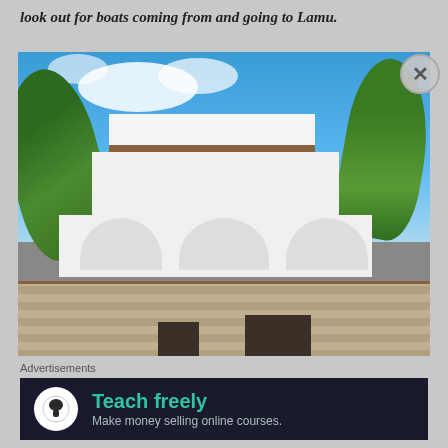look out for boats coming from and going to Lamu.
[Figure (photo): A white multi-storey building with Swahili/Arabic architectural style featuring arched doorways, flat stepped roofline, flanked by palm trees, with a stone rubble wall at the base. Blue sky with clouds in background.]
Advertisements
[Figure (screenshot): Advertisement banner: dark navy background with a white circle icon showing a tree/person figure, green bold text 'Teach freely', and smaller teal text 'Make money selling online courses.']